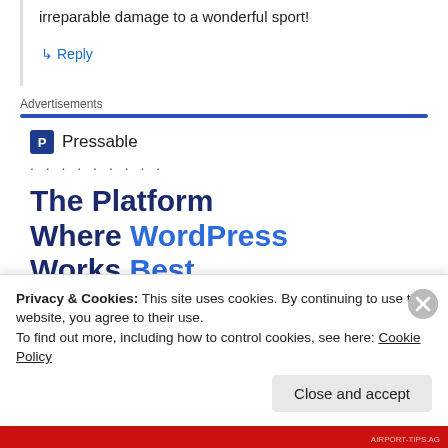irreparable damage to a wonderful sport!
↳ Reply
Advertisements
[Figure (other): Pressable advertisement banner showing logo and tagline: The Platform Where WordPress Works Best]
Privacy & Cookies: This site uses cookies. By continuing to use this website, you agree to their use. To find out more, including how to control cookies, see here: Cookie Policy
Close and accept